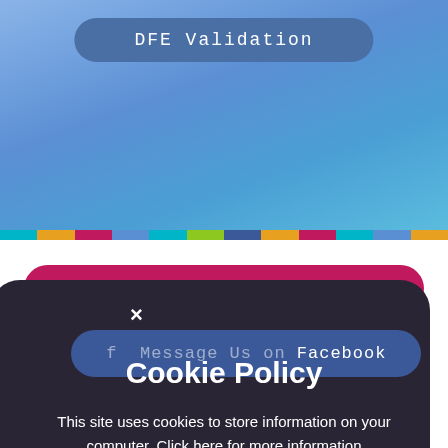[Figure (screenshot): Blue gradient header area of a website]
DFE Validation
@ hello@songofsounds.co.uk
f Message Us on Facebook
Cookie Policy
This site uses cookies to store information on your computer. Click here for more information
Allow Cookies   Deny Cookies